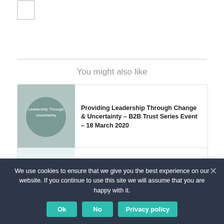[Figure (logo): Small logo/icon placeholder in top left corner]
You might also like
[Figure (photo): Circular image with people - Leadership Through Change & Uncertainty]
Providing Leadership Through Change & Uncertainty – B2B Trust Series Event – 18 March 2020
[Figure (photo): Customer Strategy image with 'Who' text and 'Engaging with an' text]
12 Critical Components of Customer Strategy – Part 2
[Figure (photo): Book/document cover for The Trust Dividend]
The Trust Dividend – by Dr Mark ...
We use cookies to ensure that we give you the best experience on our website. If you continue to use this site we will assume that you are happy with it.
Ok
No
Privacy policy